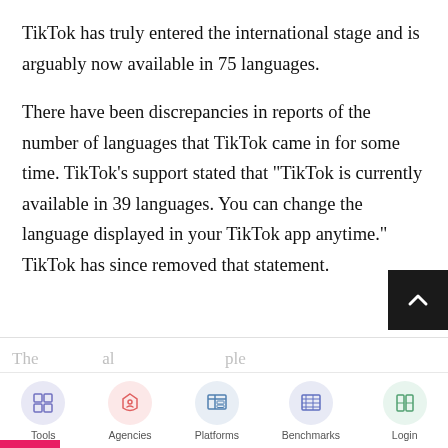TikTok has truly entered the international stage and is arguably now available in 75 languages.
There have been discrepancies in reports of the number of languages that TikTok came in for some time. TikTok's support stated that "TikTok is currently available in 39 languages. You can change the language displayed in your TikTok app anytime." TikTok has since removed that statement.
Tools | Agencies | Platforms | Benchmarks | Login